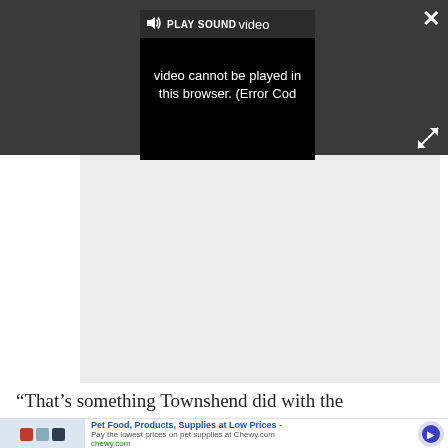[Figure (screenshot): Video player overlay on dark grey background showing error message: 'video cannot be played in this browser. (Error Cod' with PLAY SOUND button and speaker icon. Close (X) button top right, expand button bottom right.]
[Figure (screenshot): Light grey rectangular content/video area below the dark overlay bar.]
“That’s something Townshend did with the
[Figure (screenshot): Advertisement banner for Chewy.com: 'Pet Food, Products, Supplies at Low Prices - Pay the lowest prices on pet supplies at Chewy.com' with product images, chewy.com URL, a circular close button, and a blue arrow CTA button.]